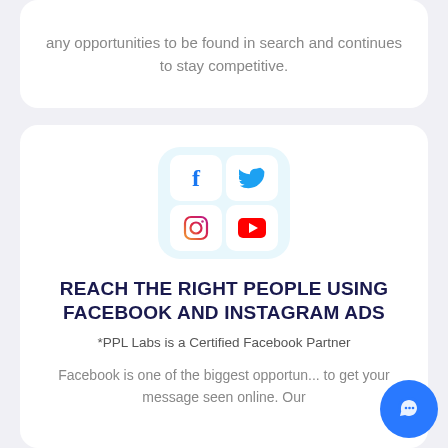any opportunities to be found in search and continues to stay competitive.
[Figure (illustration): Grid of four social media icons: Facebook (blue F), Twitter (cyan bird), Instagram (gradient camera), YouTube (red play button), arranged in a 2x2 grid on a light blue rounded square background.]
REACH THE RIGHT PEOPLE USING FACEBOOK AND INSTAGRAM ADS
*PPL Labs is a Certified Facebook Partner
Facebook is one of the biggest opportunities to get your message seen online. Our